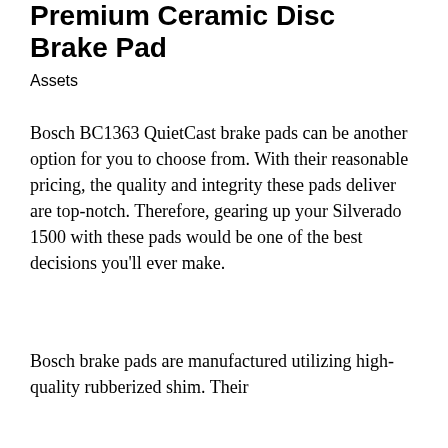Premium Ceramic Disc Brake Pad
Assets
Bosch BC1363 QuietCast brake pads can be another option for you to choose from. With their reasonable pricing, the quality and integrity these pads deliver are top-notch. Therefore, gearing up your Silverado 1500 with these pads would be one of the best decisions you'll ever make.
Bosch brake pads are manufactured utilizing high-quality rubberized shim. Their